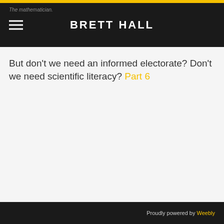BRETT HALL
But don't we need an informed electorate? Don't we need scientific literacy? Part 6
Proudly powered by Weebly